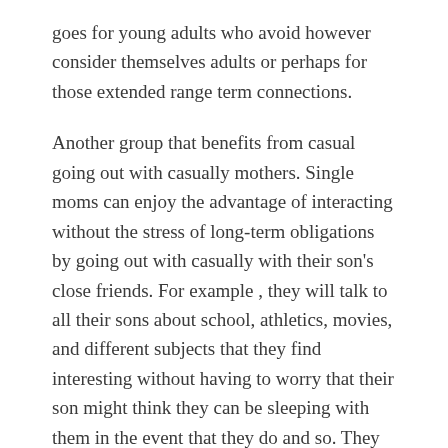goes for young adults who avoid however consider themselves adults or perhaps for those extended range term connections.
Another group that benefits from casual going out with casually mothers. Single moms can enjoy the advantage of interacting without the stress of long-term obligations by going out with casually with their son's close friends. For example , they will talk to all their sons about school, athletics, movies, and different subjects that they find interesting without having to worry that their son might think they can be sleeping with them in the event that they do and so. They can also discuss operate, family, and chores using their son devoid of feeling bad about it.
Only a few relationships derive from casual online dating. Long term relationships are likely to be based on more serious expressions of love, including marriage. Yet , there